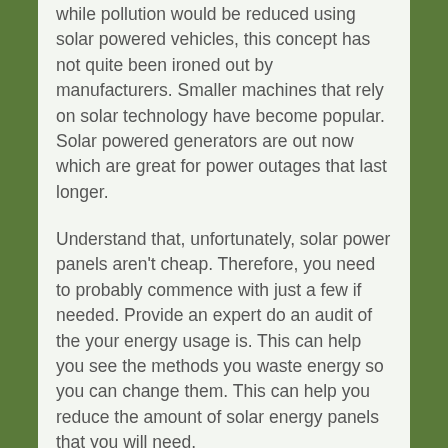while pollution would be reduced using solar powered vehicles, this concept has not quite been ironed out by manufacturers. Smaller machines that rely on solar technology have become popular. Solar powered generators are out now which are great for power outages that last longer.
Understand that, unfortunately, solar power panels aren't cheap. Therefore, you need to probably commence with just a few if needed. Provide an expert do an audit of the your energy usage is. This can help you see the methods you waste energy so you can change them. This can help you reduce the amount of solar energy panels that you will need.
Bigger might not be better when you are considering solar panel systems. There are a variety of things that determine the strength of a panel unit. You should consider all of this prior to your purchase.
Since you now know the basics you ought to feel safe